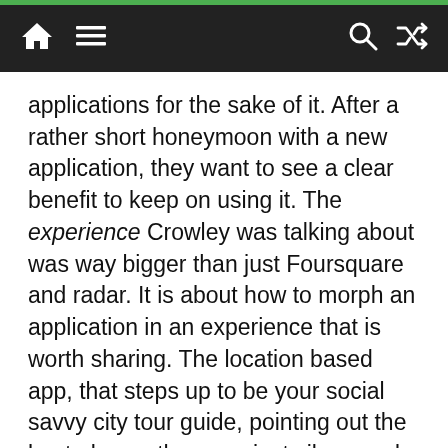[navigation bar with home, menu, search, shuffle icons]
applications for the sake of it. After a rather short honeymoon with a new application, they want to see a clear benefit to keep on using it. The experience Crowley was talking about was way bigger than just Foursquare and radar. It is about how to morph an application in an experience that is worth sharing. The location based app, that steps up to be your social savvy city tour guide, pointing out the best places, the grooviest vibes, and the restaurants that matter.
That is the heart of the whole SoLoMo thinking. Location based, social powered, and mobile, while SoLo Mo based...